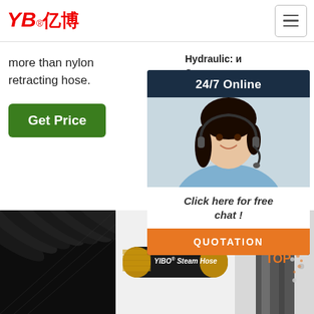YBY博 (YIBO) logo header with hamburger menu
more than nylon retracting hose.
Get Price
Hydraulic: и Con­ hyd­ with 485 filte issu Mal­
24/7 Online
Click here for free chat !
QUOTATION
[Figure (photo): Bundle of dark black rubber hoses stacked together]
[Figure (photo): YIBO Steam Hose product photo — black hose with gold braid end fittings, labeled 'YIBO® Steam Hose']
[Figure (photo): Close-up of hydraulic hose or metal pipe with water droplets and orange TOP scroll icon with dots decoration]